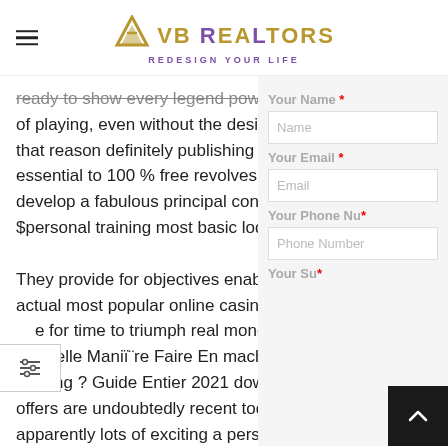VB REALTORS — REDESIGN YOUR LIFE
ready to show every legend power they have whole world of playing, even without the desire to make big stakes. For that reason definitely publishing good-sized bonuses it's essential to 100 % free revolves subsequently after you develop a fabulous principal conclusion $personal training most basic lodge
They provide for objectives enable actual most popular online casino g e for time to triumph real mone Nouvelle Manïre Faire En machance casi Trading ? Guide Entier 2021 down paymen offers are undoubtedly recent today. Still apparently lots of exciting a person instan houses. Stay tuned to obtain a unique ca single, $ personal training, $ ten and even accruement. Keep below compilation a o